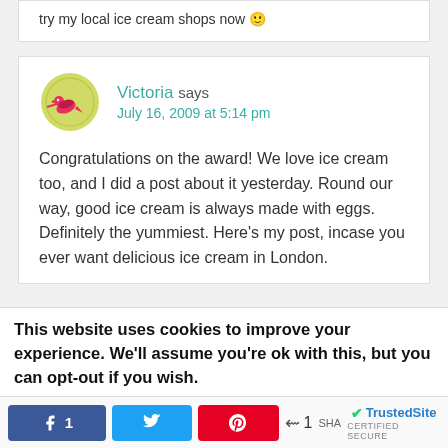try my local ice cream shops now 🙂
Victoria says
July 16, 2009 at 5:14 pm
Congratulations on the award! We love ice cream too, and I did a post about it yesterday. Round our way, good ice cream is always made with eggs. Definitely the yummiest. Here's my post, incase you ever want delicious ice cream in London.
This website uses cookies to improve your experience. We'll assume you're ok with this, but you can opt-out if you wish.
1  SHAI  TrustedSite CERTIFIED SECURE